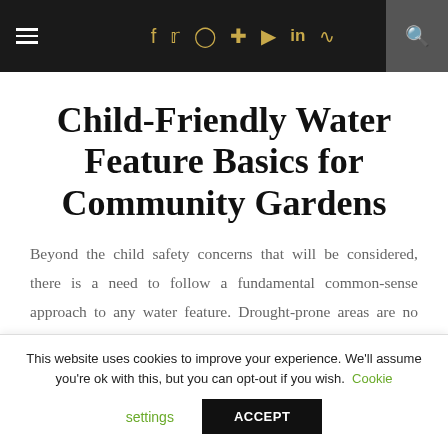≡ f 𝕏 ⊙ ⊕ ▶ in ⊃ 🔍
Child-Friendly Water Feature Basics for Community Gardens
Beyond the child safety concerns that will be considered, there is a need to follow a fundamental common-sense approach to any water feature. Drought-prone areas are no stranger to seasonal hose pipe bans.
This website uses cookies to improve your experience. We'll assume you're ok with this, but you can opt-out if you wish. Cookie settings ACCEPT